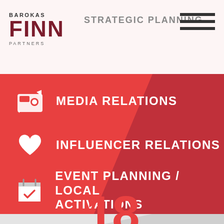[Figure (logo): Barokas Finn Partners logo]
STRATEGIC PLANNING
MEDIA RELATIONS
INFLUENCER RELATIONS
EVENT PLANNING / LOCAL ACTIVATIONS
18
STORIES